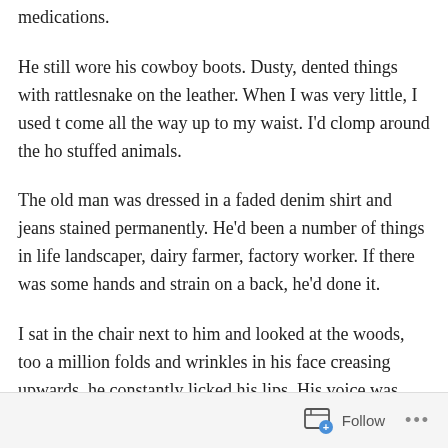medications.
He still wore his cowboy boots. Dusty, dented things with rattlesnake on the leather. When I was very little, I used to come all the way up to my waist. I'd clomp around the ho stuffed animals.
The old man was dressed in a faded denim shirt and jeans stained permanently. He'd been a number of things in life landscaper, dairy farmer, factory worker. If there was some hands and strain on a back, he'd done it.
I sat in the chair next to him and looked at the woods, too a million folds and wrinkles in his face creasing upwards. he constantly licked his lips. His voice was gravel smooth, throat like a door on rusty hinges.
Follow ...